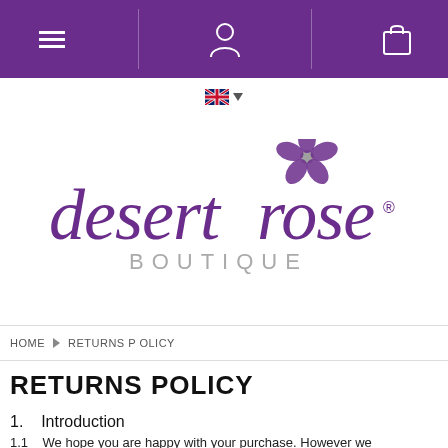Navigation bar with menu, user, and cart icons
[Figure (screenshot): UK flag language selector with dropdown arrow]
[Figure (logo): Desert Rose Boutique logo — purple cursive text with flower graphic and 'BOUTIQUE' in grey spaced capitals]
HOME › RETURNS POLICY
RETURNS POLICY
1.   Introduction
1.1   We hope you are happy with your purchase. However we understand that